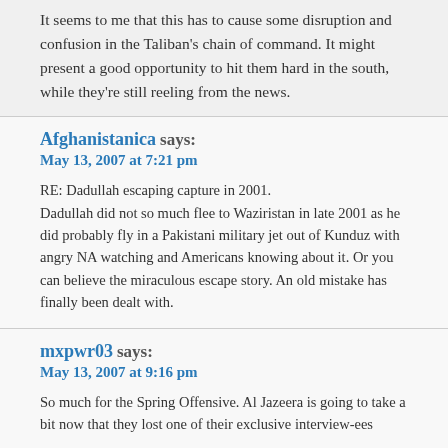It seems to me that this has to cause some disruption and confusion in the Taliban's chain of command. It might present a good opportunity to hit them hard in the south, while they're still reeling from the news.
Afghanistanica says:
May 13, 2007 at 7:21 pm
RE: Dadullah escaping capture in 2001.
Dadullah did not so much flee to Waziristan in late 2001 as he did probably fly in a Pakistani military jet out of Kunduz with angry NA watching and Americans knowing about it. Or you can believe the miraculous escape story. An old mistake has finally been dealt with.
mxpwr03 says:
May 13, 2007 at 9:16 pm
So much for the Spring Offensive. Al Jazeera is going to take a bit now that they lost one of their exclusive interview-ees